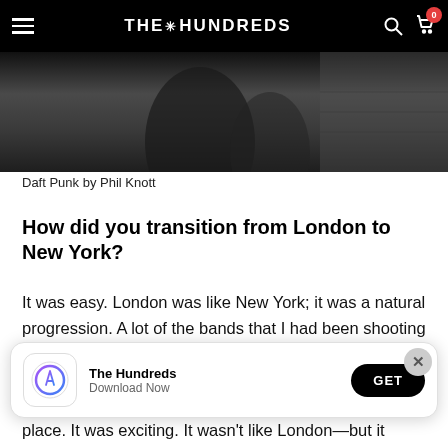THE HUNDREDS
[Figure (photo): Dark, moody black-and-white photograph, partially visible at top — appears to be people near stone wall, associated with Daft Punk.]
Daft Punk by Phil Knott
How did you transition from London to New York?
It was easy. London was like New York; it was a natural progression. A lot of the bands that I had been shooting were coming from New York. I was dipping in and out doing jobs. Then, my office, Jan Stevens's
place. It was exciting. It wasn't like London—but it